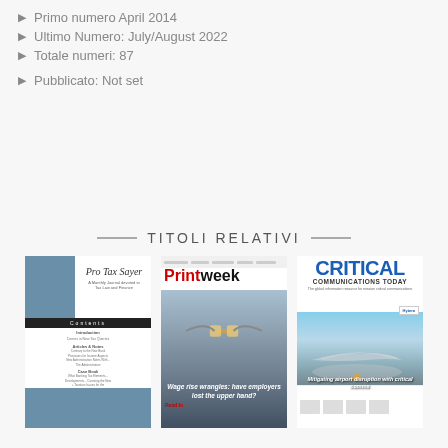Primo numero April 2014
Ultimo Numero: July/August 2022
Totale numeri: 87
Pubblicato: Not set
TITOLI RELATIVI
[Figure (photo): Cover of Pro Tax Saver magazine - a publication with a blue sidebar and script logo]
[Figure (photo): Cover of Printweek magazine featuring a tug-of-war with money and headline 'Wage rise wrangles: have employers lost the upper hand?']
[Figure (photo): Cover of Critical Communications Today magazine featuring an airplane on a runway with text 'Mitigating airport disruption with critical comms']